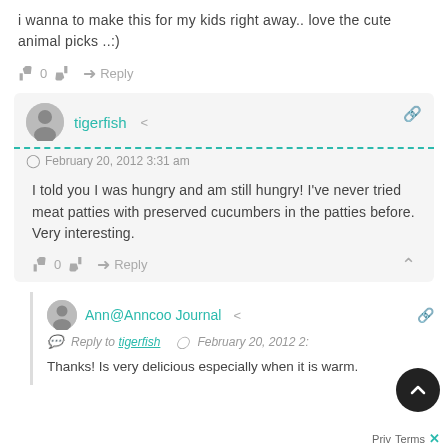i wanna to make this for my kids right away.. love the cute animal picks ..:)
0  Reply
tigerfish
February 20, 2012 3:31 am
I told you I was hungry and am still hungry! I've never tried meat patties with preserved cucumbers in the patties before. Very interesting.
0  Reply
Ann@Anncoo Journal
Reply to tigerfish   February 20, 2012 2:
Thanks! Is very delicious especially when it is warm.